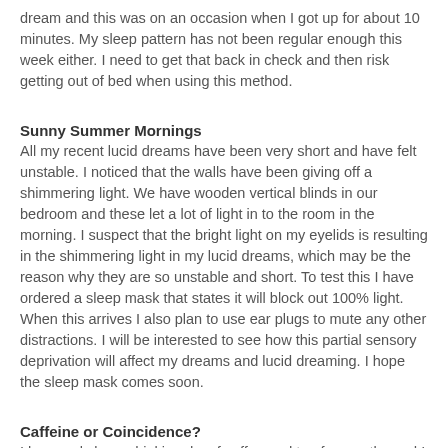dream and this was on an occasion when I got up for about 10 minutes. My sleep pattern has not been regular enough this week either. I need to get that back in check and then risk getting out of bed when using this method.
Sunny Summer Mornings
All my recent lucid dreams have been very short and have felt unstable. I noticed that the walls have been giving off a shimmering light. We have wooden vertical blinds in our bedroom and these let a lot of light in to the room in the morning. I suspect that the bright light on my eyelids is resulting in the shimmering light in my lucid dreams, which may be the reason why they are so unstable and short. To test this I have ordered a sleep mask that states it will block out 100% light. When this arrives I also plan to use ear plugs to mute any other distractions. I will be interested to see how this partial sensory deprivation will affect my dreams and lucid dreaming. I hope the sleep mask comes soon.
Caffeine or Coincidence?
I have only been drinking decaf coffee and tea for months and I hardly ever eat chocolate so my caffeine intake should